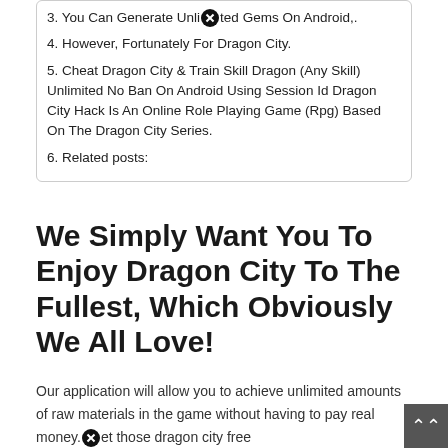3. You Can Generate Unlimited Gems On Android,.
4. However, Fortunately For Dragon City.
5. Cheat Dragon City & Train Skill Dragon (Any Skill) Unlimited No Ban On Android Using Session Id Dragon City Hack Is An Online Role Playing Game (Rpg) Based On The Dragon City Series.
6. Related posts:
We Simply Want You To Enjoy Dragon City To The Fullest, Which Obviously We All Love!
Our application will allow you to achieve unlimited amounts of raw materials in the game without having to pay real money. Get those dragon city free